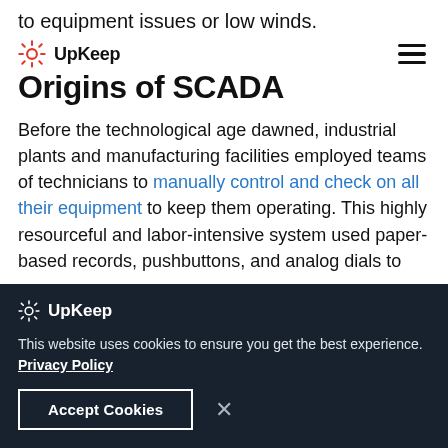to equipment issues or low winds.
UpKeep
Origins of SCADA
Before the technological age dawned, industrial plants and manufacturing facilities employed teams of technicians to manually control and check on all their equipment to keep them operating. This highly resourceful and labor-intensive system used paper-based records, pushbuttons, and analog dials to
UpKeep
This website uses cookies to ensure you get the best experience. Privacy Policy
Accept Cookies